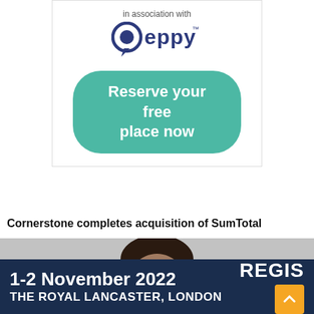[Figure (logo): Peppy logo with 'in association with' text above and a 'Reserve your free place now' teal button below]
Cornerstone completes acquisition of SumTotal
[Figure (photo): Photo of a man with glasses on a grey background, with left and right navigation arrows]
1-2 November 2022 THE ROYAL LANCASTER, LONDON REGIS